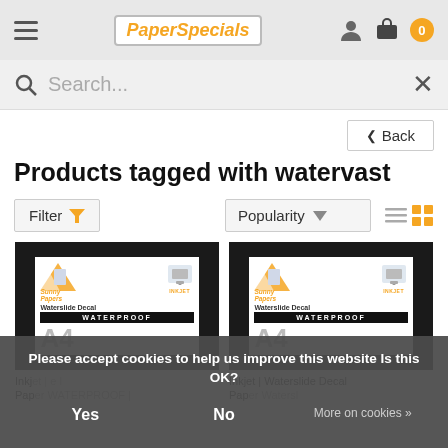PaperSpecials header with menu, logo, user icon, bag icon, cart badge 0
Search...
< Back
Products tagged with watervast
Filter   Popularity
[Figure (photo): Inkjet Waterslide Decal WATERPROOF A4 product packaging image on black background]
[Figure (photo): Inkjet Waterslide Decal WATERPROOF A4 product packaging image on black background]
Inkjet | Waterslide Decal
Inkjet | Waterslide Decal
Please accept cookies to help us improve this website Is this OK?
Yes   No   More on cookies »